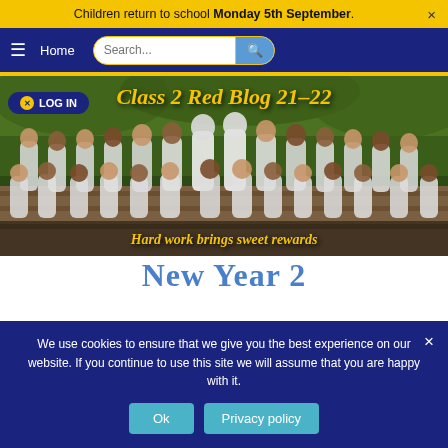Children return to school Monday 5th September.
Home  Search...
[Figure (photo): Class photo of children in white t-shirts sitting on steps outdoors, with two teachers standing behind them. Trees visible in background.]
Class 2 Red Blog 21–22
Hard work brings sweet rewards
New Year 2
We use cookies to ensure that we give you the best experience on our website. If you continue to use this site we will assume that you are happy with it.